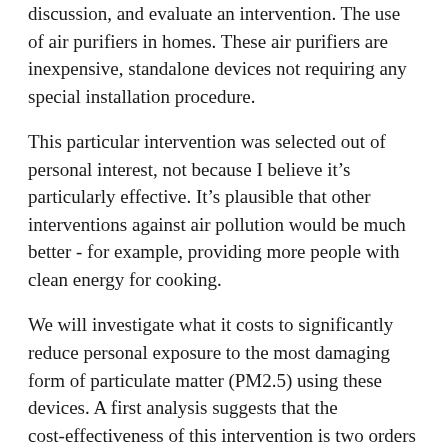discussion, and evaluate an intervention. The use of air purifiers in homes. These air purifiers are inexpensive, standalone devices not requiring any special installation procedure.
This particular intervention was selected out of personal interest, not because I believe it's particularly effective. It's plausible that other interventions against air pollution would be much better - for example, providing more people with clean energy for cooking.
We will investigate what it costs to significantly reduce personal exposure to the most damaging form of particulate matter (PM2.5) using these devices. A first analysis suggests that the cost-effectiveness of this intervention is two orders of magnitude worse than the best EA interventions. However, it is still good enough to qualify as an “effective” or even “highly effective”